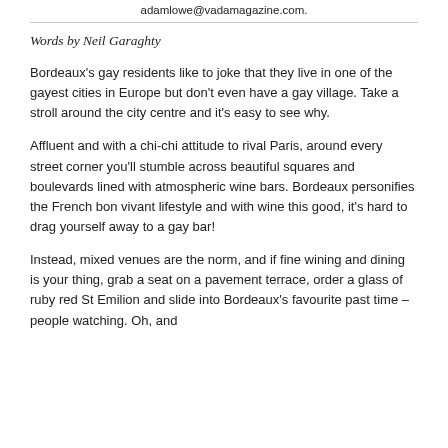adamlowe@vadamagazine.com.
Words by Neil Garaghty
Bordeaux's gay residents like to joke that they live in one of the gayest cities in Europe but don't even have a gay village. Take a stroll around the city centre and it's easy to see why.
Affluent and with a chi-chi attitude to rival Paris, around every street corner you'll stumble across beautiful squares and boulevards lined with atmospheric wine bars. Bordeaux personifies the French bon vivant lifestyle and with wine this good, it's hard to drag yourself away to a gay bar!
Instead, mixed venues are the norm, and if fine wining and dining is your thing, grab a seat on a pavement terrace, order a glass of ruby red St Emilion and slide into Bordeaux's favourite past time – people watching. Oh, and